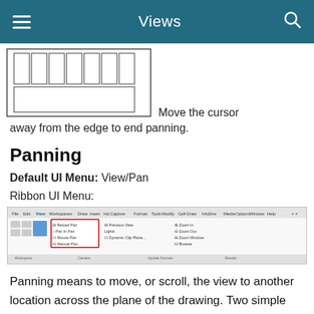Views
[Figure (illustration): Diagram showing a grid of rectangular cells in a table-like arrangement with a horizontal bar below, representing a drawing canvas edge used for panning.]
Move the cursor away from the edge to end panning.
Panning
Default UI Menu: View/Pan
Ribbon UI Menu:
[Figure (screenshot): Screenshot of the Ribbon UI menu showing the View tab with Pan-related options highlighted in a red box, including 'Pan In Pan', 'Mouse Pan', and related controls.]
Panning means to move, or scroll, the view to another location across the plane of the drawing. Two simple ways